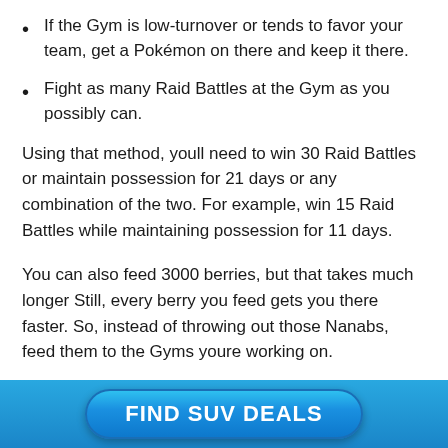If the Gym is low-turnover or tends to favor your team, get a Pokémon on there and keep it there.
Fight as many Raid Battles at the Gym as you possibly can.
Using that method, youll need to win 30 Raid Battles or maintain possession for 21 days or any combination of the two. For example, win 15 Raid Battles while maintaining possession for 11 days.
You can also feed 3000 berries, but that takes much longer Still, every berry you feed gets you there faster. So, instead of throwing out those Nanabs, feed them to the Gyms youre working on.
[Figure (other): Blue advertisement banner button with text 'FIND SUV DEALS']